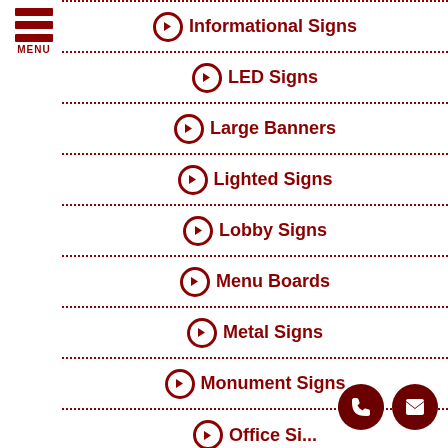[Figure (logo): Hamburger menu icon with three red bars and MENU label]
Informational Signs
LED Signs
Large Banners
Lighted Signs
Lobby Signs
Menu Boards
Metal Signs
Monument Signs
Office Signs (partial)